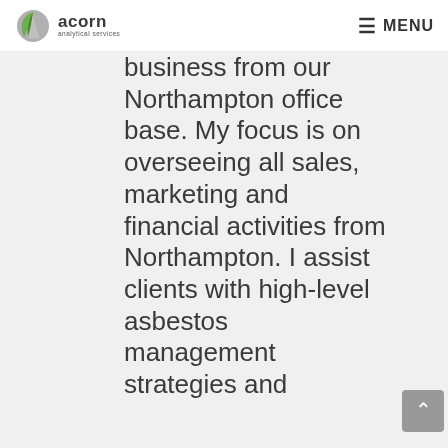acorn analytical services — MENU
business from our Northampton office base. My focus is on overseeing all sales, marketing and financial activities from Northampton. I assist clients with high-level asbestos management strategies and